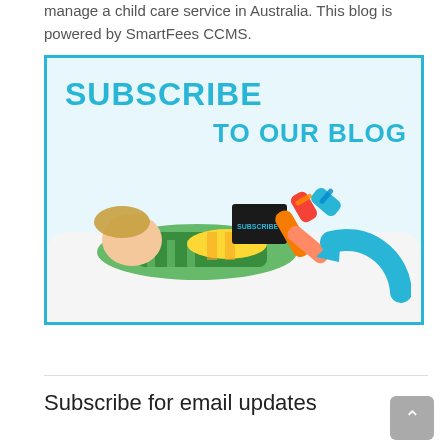manage a child care service in Australia. This blog is powered by SmartFees CCMS.
[Figure (illustration): Promotional banner image with a child lying on a white sofa holding a tablet, with colorful striped socks. Text overlay reads 'SUBSCRIBE TO OUR BLOG' in cyan/blue. A cyan circular arrow is in the lower right. Blue border around the image.]
Subscribe for email updates